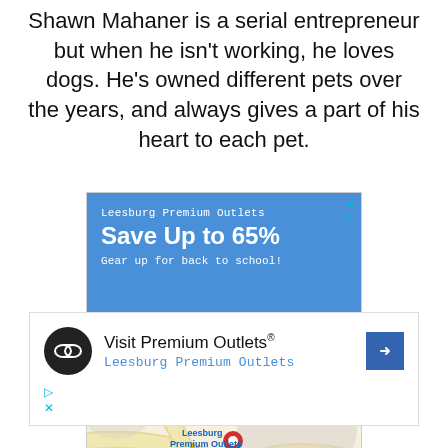Shawn Mahaner is a serial entrepreneur but when he isn't working, he loves dogs. He's owned different pets over the years, and always gives a part of his heart to each pet.
[Figure (screenshot): Google ad for Leesburg Premium Outlets showing blue banner with 'Save Up to 65%' text and a map view below]
[Figure (screenshot): Second Google ad for Visit Premium Outlets / Leesburg Premium Outlets with logo, text, and navigation arrow icon]